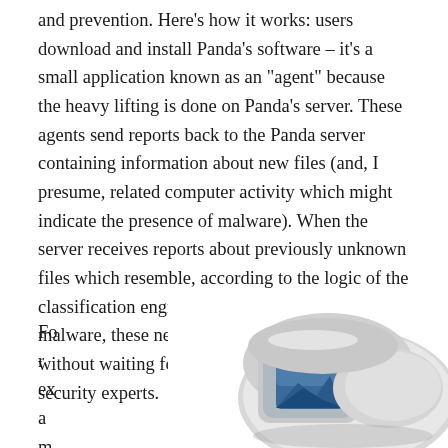and prevention. Here's how it works: users download and install Panda's software – it's a small application known as an "agent" because the heavy lifting is done on Panda's server. These agents send reports back to the Panda server containing information about new files (and, I presume, related computer activity which might indicate the presence of malware). When the server receives reports about previously unknown files which resemble, according to the logic of the classification engine, files already known to be malware, these new files are classified as threats without waiting for manual review by human security experts.
For example,
[Figure (photo): A white/gray device that appears to be a security camera or surveillance device, partially visible in the bottom-right corner of the page.]